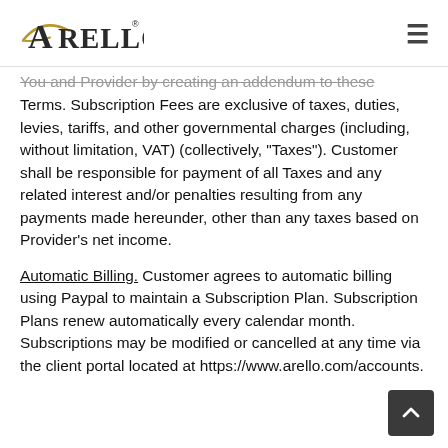ARELLO
You and Provider by creating an addendum to these Terms. Subscription Fees are exclusive of taxes, duties, levies, tariffs, and other governmental charges (including, without limitation, VAT) (collectively, "Taxes"). Customer shall be responsible for payment of all Taxes and any related interest and/or penalties resulting from any payments made hereunder, other than any taxes based on Provider's net income.
Automatic Billing. Customer agrees to automatic billing using Paypal to maintain a Subscription Plan. Subscription Plans renew automatically every calendar month. Subscriptions may be modified or cancelled at any time via the client portal located at https://www.arello.com/accounts.